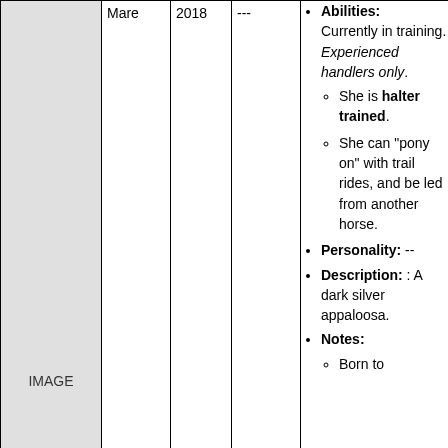| Image | Sex | Year | Price | Details |
| --- | --- | --- | --- | --- |
| IMAGE | Mare | 2018 | --- | Abilities: Currently in training. Experienced handlers only. She is halter trained. She can "pony on" with trail rides, and be led from another horse. Personality: -- Description: : A dark silver appaloosa. Notes: Born to [continues] |